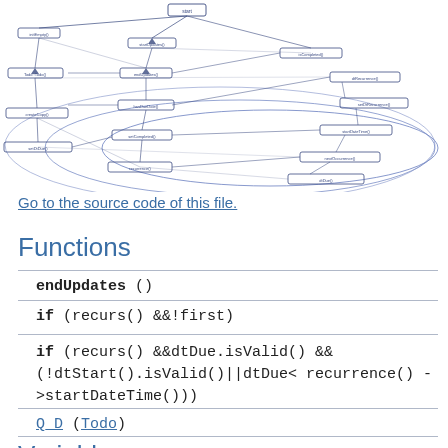[Figure (flowchart): Complex flowchart/dependency graph with many nodes and directed edges, rendered in blue/dark blue lines on white background, showing function call relationships.]
Go to the source code of this file.
Functions
endUpdates ()
if (recurs() &&!first)
if (recurs() &&dtDue.isValid() && (!dtStart().isValid()||dtDue< recurrence() ->startDateTime()))
Q_D (Todo)
Variables
else